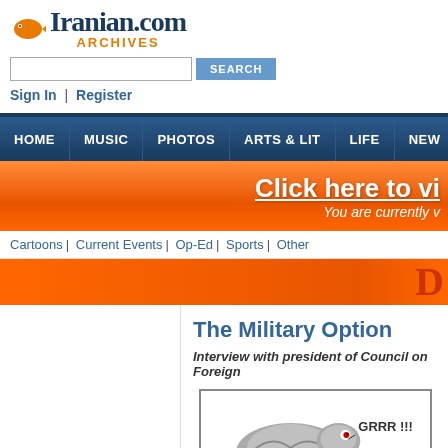[Figure (logo): Iranian.com Archives logo with orange fish icon and dark blue text]
Sign In | Register
HOME | MUSIC | PHOTOS | ARTS & LIT | LIFE | NEW...
[Figure (infographic): Orange banner with text: Click here to vi... You are currently v...]
Cartoons | Current Events | Op-Ed | Sports | Other
[Figure (infographic): Orange sub-banner with partial letter D on right]
The Military Option
Interview with president of Council on Foreign...
[Figure (illustration): Cartoon of armored creature with GRRR !!! speech text]